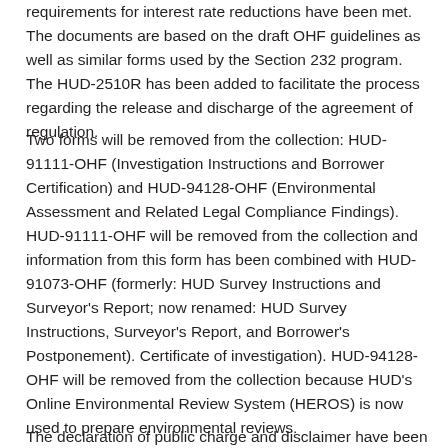requirements for interest rate reductions have been met. The documents are based on the draft OHF guidelines as well as similar forms used by the Section 232 program. The HUD-2510R has been added to facilitate the process regarding the release and discharge of the agreement of regulation.
Two forms will be removed from the collection: HUD-91111-OHF (Investigation Instructions and Borrower Certification) and HUD-94128-OHF (Environmental Assessment and Related Legal Compliance Findings). HUD-91111-OHF will be removed from the collection and information from this form has been combined with HUD-91073-OHF (formerly: HUD Survey Instructions and Surveyor's Report; now renamed: HUD Survey Instructions, Surveyor's Report, and Borrower's Postponement). Certificate of investigation). HUD-94128-OHF will be removed from the collection because HUD's Online Environmental Review System (HEROS) is now used to prepare environmental reviews.
The declaration of public charge and disclaimer have been